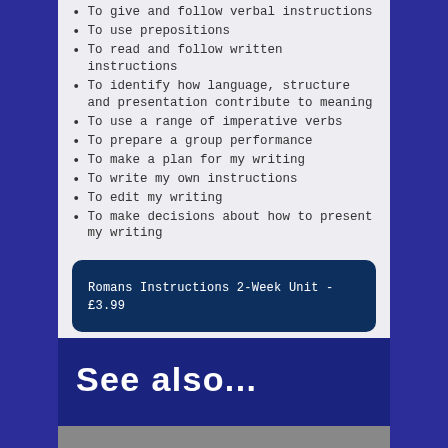To give and follow verbal instructions
To use prepositions
To read and follow written instructions
To identify how language, structure and presentation contribute to meaning
To use a range of imperative verbs
To prepare a group performance
To make a plan for my writing
To write my own instructions
To edit my writing
To make decisions about how to present my writing
Romans Instructions 2-Week Unit - £3.99
See also...